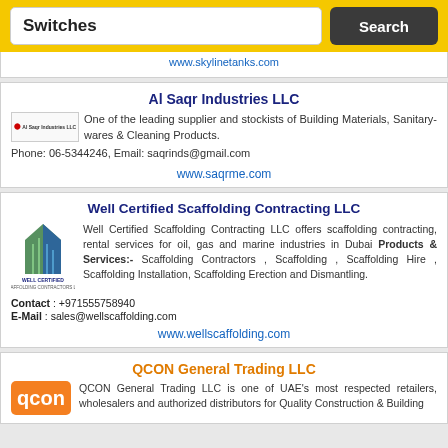Switches | Search
www.skylinetanks.com
Al Saqr Industries LLC
One of the leading supplier and stockists of Building Materials, Sanitary-wares & Cleaning Products. Phone: 06-5344246, Email: saqrinds@gmail.com
www.saqrme.com
Well Certified Scaffolding Contracting LLC
Well Certified Scaffolding Contracting LLC offers scaffolding contracting, rental services for oil, gas and marine industries in Dubai Products & Services:- Scaffolding Contractors , Scaffolding , Scaffolding Hire , Scaffolding Installation, Scaffolding Erection and Dismantling. Contact : +971555758940 E-Mail : sales@wellscaffolding.com
www.wellscaffolding.com
QCON General Trading LLC
QCON General Trading LLC is one of UAE's most respected retailers, wholesalers and authorized distributors for Quality Construction & Building